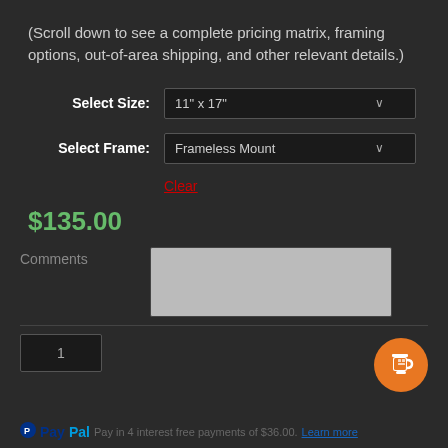(Scroll down to see a complete pricing matrix, framing options, out-of-area shipping, and other relevant details.)
Select Size: 11" x 17"
Select Frame: Frameless Mount
Clear
$135.00
Comments
1
Buy Greg a gallon of avgas!
PayPal Pay in 4 interest free payments of $36.00. Learn more